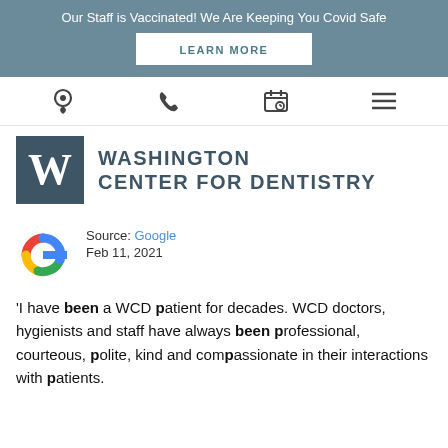Our Staff is Vaccinated! We Are Keeping You Covid Safe
LEARN MORE
[Figure (logo): Navigation icons: location pin, phone, calendar with clock, hamburger menu]
[Figure (logo): Washington Center for Dentistry logo: dark teal square with W, text 'WASHINGTON CENTER FOR DENTISTRY']
Source: Google
Feb 11, 2021
[Figure (logo): Google G logo in red, yellow, green, blue colors]
'I have been a WCD patient for decades. WCD doctors, hygienists and staff have always been professional, courteous, polite, kind and compassionate in their interactions with patients.